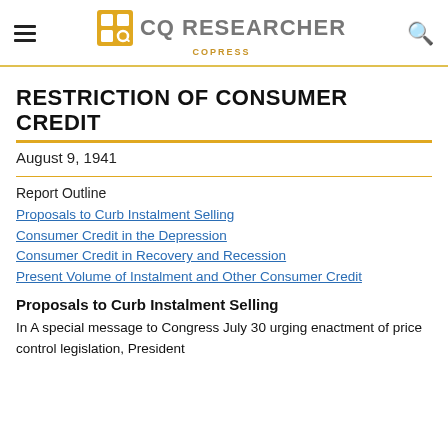CQ RESEARCHER | COPRESS
RESTRICTION OF CONSUMER CREDIT
August 9, 1941
Report Outline
Proposals to Curb Instalment Selling
Consumer Credit in the Depression
Consumer Credit in Recovery and Recession
Present Volume of Instalment and Other Consumer Credit
Proposals to Curb Instalment Selling
In A special message to Congress July 30 urging enactment of price control legislation, President